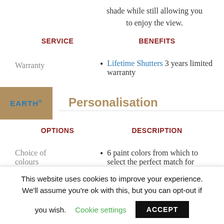shade while still allowing you to enjoy the view.
SERVICE
BENEFITS
Warranty
Lifetime Shutters 3 years limited warranty
[Figure (logo): EARTH® badge in tan/khaki square]
Personalisation
OPTIONS
DESCRIPTION
Choice of colours
6 paint colors from which to select the perfect match for
This website uses cookies to improve your experience. We'll assume you're ok with this, but you can opt-out if you wish. Cookie settings ACCEPT